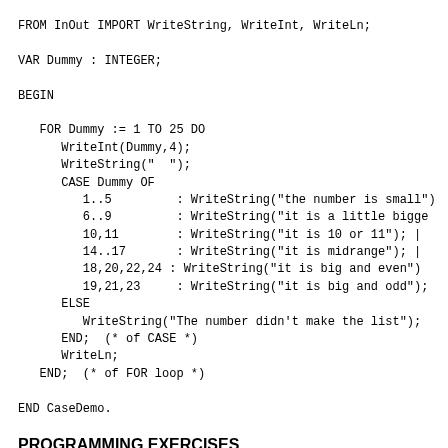FROM InOut IMPORT WriteString, WriteInt, WriteLn;

VAR Dummy : INTEGER;

BEGIN

   FOR Dummy := 1 TO 25 DO
      WriteInt(Dummy,4);
      WriteString("  ");
      CASE Dummy OF
         1..5         : WriteString("the number is small")
         6..9         : WriteString("it is a little bigge
         10,11        : WriteString("it is 10 or 11"); |
         14..17       : WriteString("it is midrange"); |
         18,20,22,24 : WriteString("it is big and even")
         19,21,23     : WriteString("it is big and odd");
      ELSE
         WriteString("The number didn't make the list");
      END;  (* of CASE *)
      WriteLn;
   END;  (* of FOR loop *)

END CaseDemo.
PROGRAMMING EXERCISES